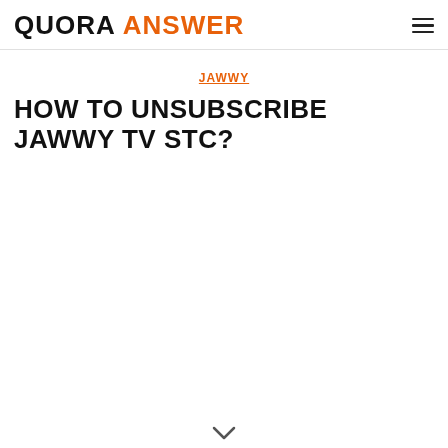QUORA ANSWER
JAWWY
HOW TO UNSUBSCRIBE JAWWY TV STC?